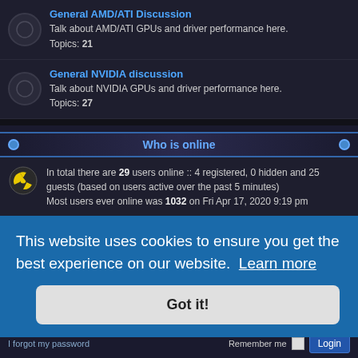General AMD/ATI Discussion
Talk about AMD/ATI GPUs and driver performance here.
Topics: 21
General NVIDIA discussion
Talk about NVIDIA GPUs and driver performance here.
Topics: 27
Who is online
In total there are 29 users online :: 4 registered, 0 hidden and 25 guests (based on users active over the past 5 minutes)
Most users ever online was 1032 on Fri Apr 17, 2020 9:19 pm
Statistics
Total posts 177414 • Total topics 20785 • Total members 39024 • Our newest member Orromin
This website uses cookies to ensure you get the best experience on our website. Learn more
Got it!
I forgot my password
Remember me  Login